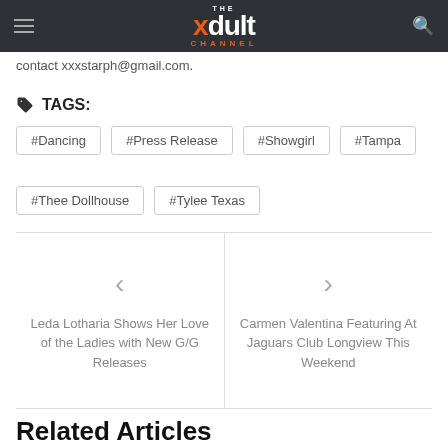THE xdult CHANNEL
contact xxxstarph@gmail.com.
TAGS:
#Dancing
#Press Release
#Showgirl
#Tampa
#Thee Dollhouse
#Tylee Texas
< Leda Lotharia Shows Her Love of the Ladies with New G/G Releases
> Carmen Valentina Featuring At Jaguars Club Longview This Weekend
Related Articles